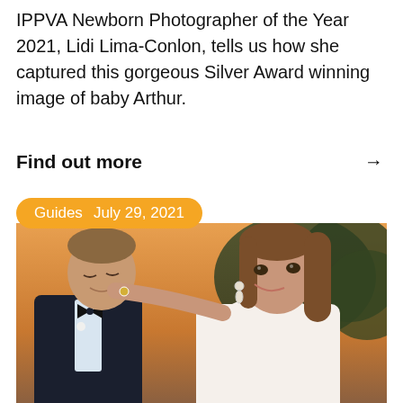IPPVA Newborn Photographer of the Year 2021, Lidi Lima-Conlon, tells us how she captured this gorgeous Silver Award winning image of baby Arthur.
Find out more →
[Figure (photo): Wedding couple photo with orange pill tag showing 'Guides  July 29, 2021'. A man in a dark suit and bow tie with eyes closed, and a woman in a white dress smiling at him, both looking at each other against an outdoor background with warm sunset light.]